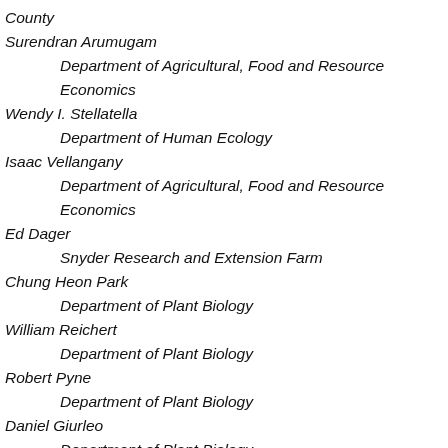County
Surendran Arumugam
		Department of Agricultural, Food and Resource Economics
Wendy I. Stellatella
		Department of Human Ecology
Isaac Vellangany
		Department of Agricultural, Food and Resource Economics
Ed Dager
		Snyder Research and Extension Farm
Chung Heon Park
		Department of Plant Biology
William Reichert
		Department of Plant Biology
Robert Pyne
		Department of Plant Biology
Daniel Giurleo
		Department of Plant Biology
David Byrnes